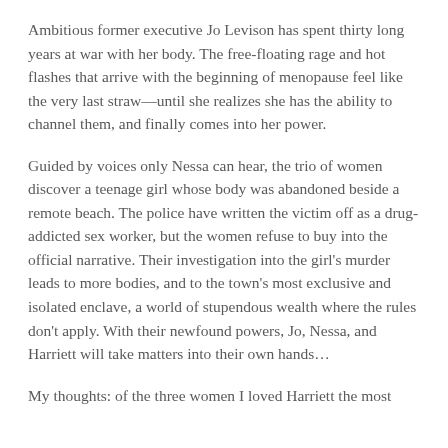Ambitious former executive Jo Levison has spent thirty long years at war with her body. The free-floating rage and hot flashes that arrive with the beginning of menopause feel like the very last straw—until she realizes she has the ability to channel them, and finally comes into her power.
Guided by voices only Nessa can hear, the trio of women discover a teenage girl whose body was abandoned beside a remote beach. The police have written the victim off as a drug-addicted sex worker, but the women refuse to buy into the official narrative. Their investigation into the girl's murder leads to more bodies, and to the town's most exclusive and isolated enclave, a world of stupendous wealth where the rules don't apply. With their newfound powers, Jo, Nessa, and Harriett will take matters into their own hands…
My thoughts: of the three women I loved Harriett the most